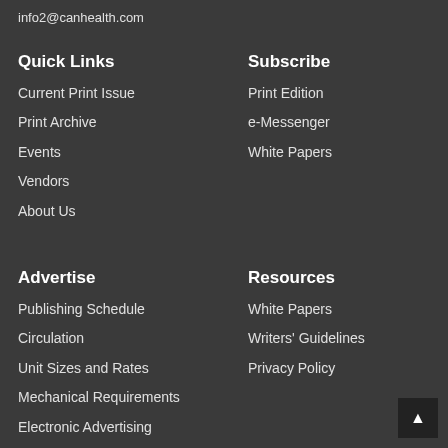info2@canhealth.com
Quick Links
Current Print Issue
Print Archive
Events
Vendors
About Us
Subscribe
Print Edition
e-Messenger
White Papers
Advertise
Publishing Schedule
Circulation
Unit Sizes and Rates
Mechanical Requirements
Electronic Advertising
Resources
White Papers
Writers' Guidelines
Privacy Policy